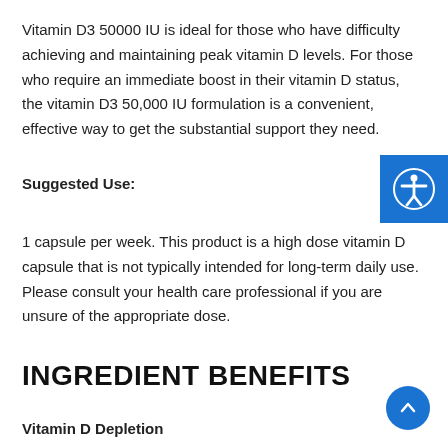Vitamin D3 50000 IU is ideal for those who have difficulty achieving and maintaining peak vitamin D levels. For those who require an immediate boost in their vitamin D status, the vitamin D3 50,000 IU formulation is a convenient, effective way to get the substantial support they need.
Suggested Use:
1 capsule per week. This product is a high dose vitamin D capsule that is not typically intended for long-term daily use. Please consult your health care professional if you are unsure of the appropriate dose.
INGREDIENT BENEFITS
Vitamin D Depletion